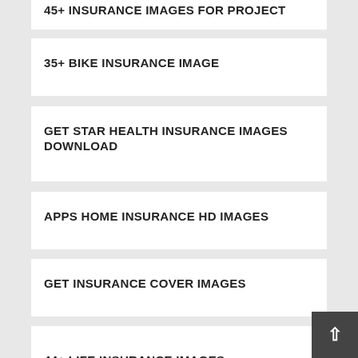45+ INSURANCE IMAGES FOR PROJECT
35+ BIKE INSURANCE IMAGE
GET STAR HEALTH INSURANCE IMAGES DOWNLOAD
APPS HOME INSURANCE HD IMAGES
GET INSURANCE COVER IMAGES
14+ TERM INSURANCE IMAGES
44+ LIFE INSURANCE IMAGES